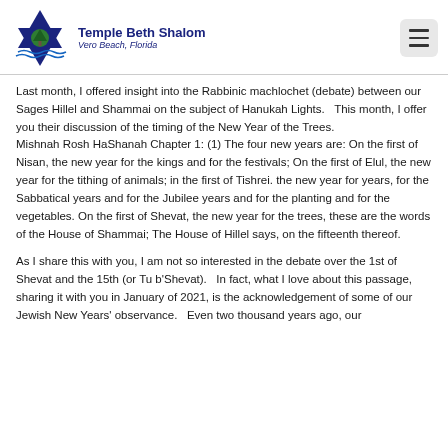Temple Beth Shalom — Vero Beach, Florida
Last month, I offered insight into the Rabbinic machlochet (debate) between our Sages Hillel and Shammai on the subject of Hanukah Lights.   This month, I offer you their discussion of the timing of the New Year of the Trees.
Mishnah Rosh HaShanah Chapter 1: (1) The four new years are: On the first of Nisan, the new year for the kings and for the festivals; On the first of Elul, the new year for the tithing of animals; in the first of Tishrei. the new year for years, for the Sabbatical years and for the Jubilee years and for the planting and for the vegetables. On the first of Shevat, the new year for the trees, these are the words of the House of Shammai; The House of Hillel says, on the fifteenth thereof.
As I share this with you, I am not so interested in the debate over the 1st of Shevat and the 15th (or Tu b'Shevat).   In fact, what I love about this passage, sharing it with you in January of 2021, is the acknowledgement of some of our Jewish New Years' observance.   Even two thousand years ago, our